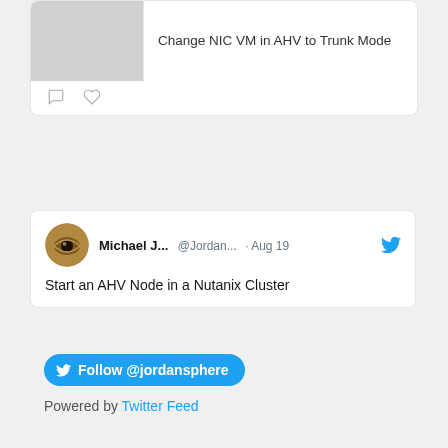Change NIC VM in AHV to Trunk Mode
[Figure (screenshot): Tweet card showing link preview with image placeholder and text 'Change NIC VM in AHV to Trunk Mode', with comment and heart icons below]
[Figure (screenshot): Tweet from Michael J... @Jordan... · Aug 19 with Twitter bird icon, text: Start an AHV Node in a Nutanix Cluster]
Michael J...  @Jordan...  · Aug 19
Start an AHV Node in a Nutanix Cluster
Follow @jordansphere
Powered by Twitter Feed
Recent Posts
Change NIC VM in AHV to Trunk Mode